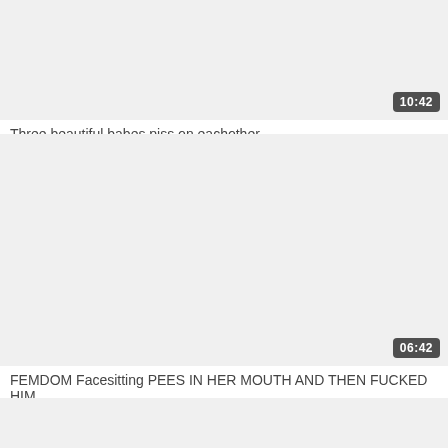[Figure (screenshot): Video thumbnail placeholder — light gray rectangle with duration badge showing 10:42]
Three beautiful babes piss on eachother
[Figure (screenshot): Video thumbnail placeholder — light gray rectangle with duration badge showing 06:42]
FEMDOM Facesitting PEES IN HER MOUTH AND THEN FUCKED HIM
[Figure (screenshot): Video thumbnail placeholder — light gray rectangle, partially visible at bottom]